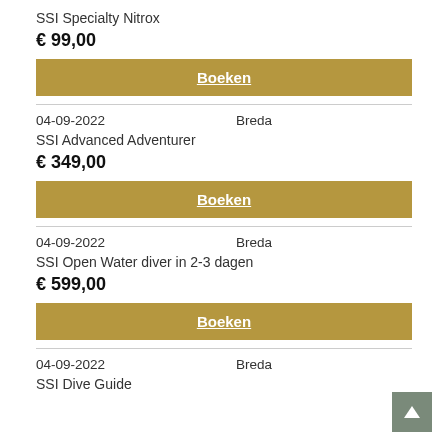SSI Specialty Nitrox
€ 99,00
Boeken
04-09-2022   Breda
SSI Advanced Adventurer
€ 349,00
Boeken
04-09-2022   Breda
SSI Open Water diver in 2-3 dagen
€ 599,00
Boeken
04-09-2022   Breda
SSI Dive Guide